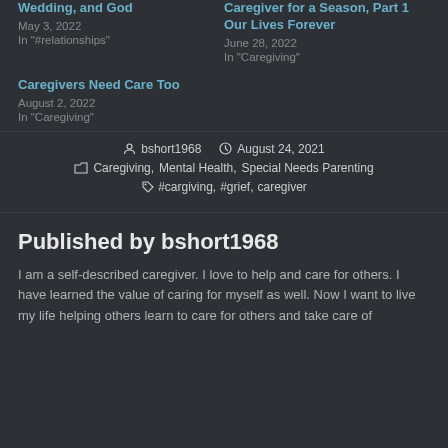Wedding, and God
May 3, 2022
In "#relationships"
Caregiver for a Season, Part 1
Our Lives Forever
June 28, 2022
In "Caregiving"
Caregivers Need Care Too
August 2, 2022
In "Caregiving"
Author: bshort1968   Date: August 24, 2021   Categories: Caregiving, Mental Health, Special Needs Parenting   Tags: #cargiving, #grief, caregiver
Published by bshort1968
I am a self-described caregiver. I love to help and care for others. I have learned the value of caring for myself as well. Now I want to live my life helping others learn to care for others and take care of